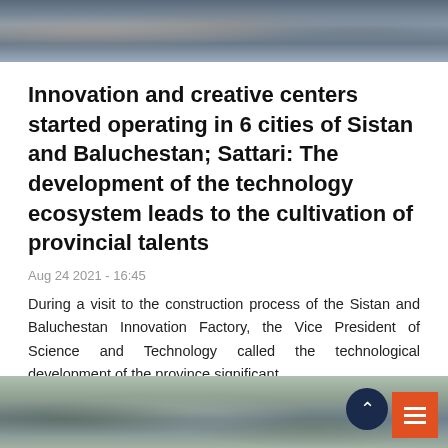[Figure (photo): Top photograph showing people at a meeting or event, blurred/low-resolution]
Innovation and creative centers started operating in 6 cities of Sistan and Baluchestan; Sattari: The development of the technology ecosystem leads to the cultivation of provincial talents
Aug 24 2021 - 16:45
During a visit to the construction process of the Sistan and Baluchestan Innovation Factory, the Vice President of Science and Technology called the technological development of the province significant.
[Figure (photo): Bottom photograph showing outdoor scene with trees and people, blurred/low-resolution]